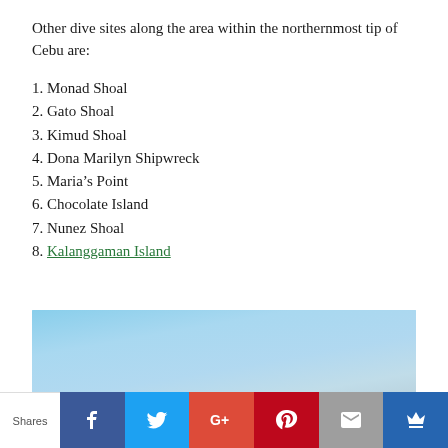Other dive sites along the area within the northernmost tip of Cebu are:
1. Monad Shoal
2. Gato Shoal
3. Kimud Shoal
4. Dona Marilyn Shipwreck
5. Maria’s Point
6. Chocolate Island
7. Nunez Shoal
8. Kalanggaman Island
[Figure (photo): Partial view of sky and water, blue sky with hazy light tones, appears to be a coastal or island scene.]
Shares | Facebook | Twitter | Google+ | Pinterest | Email | Crown